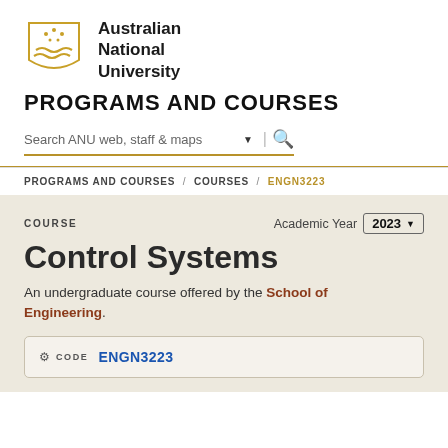[Figure (logo): Australian National University shield logo with gold stars and wave motifs]
Australian National University
PROGRAMS AND COURSES
Search ANU web, staff & maps
PROGRAMS AND COURSES / COURSES / ENGN3223
COURSE
Academic Year 2023
Control Systems
An undergraduate course offered by the School of Engineering.
CODE ENGN3223